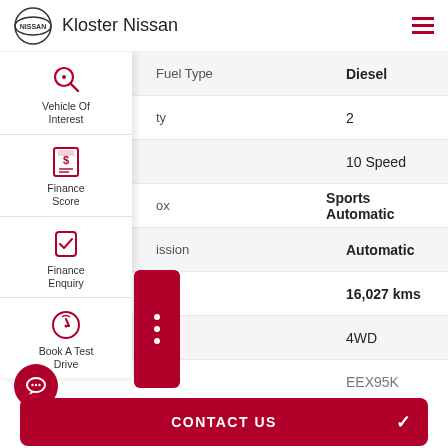Kloster Nissan
| Field | Value |
| --- | --- |
| Fuel Type | Diesel |
| ty | 2 |
|  | 10 Speed |
| ox | Sports Automatic |
| ission | Automatic |
| eter | 16,027 kms |
|  | 4WD |
|  | EEX95K |
[Figure (screenshot): Nissan dealership mobile web app screenshot showing vehicle details sidebar with icons for Vehicle Of Interest, Finance Score, Finance Enquiry, Book A Test Drive, and vehicle spec rows]
CONTACT US
FINANCE SCORE